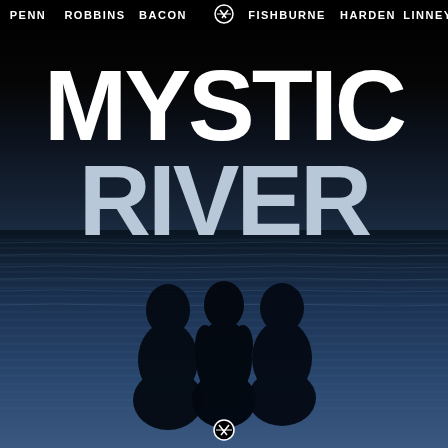[Figure (illustration): Mystic River movie poster. Dark background with black at top fading to deep blue-gray water reflection in the lower portion. Three dark silhouettes of people are reflected upside-down in the water. Cast names across the top: PENN, ROBBINS, BACON, FISHBURNE (with X Warner Bros logo partially overlaying), HARDEN, LINNEY. Large bold white text reads MYSTIC RIVER in two lines. WB logo at top center and bottom center.]
PENN   ROBBINS   BACON   FISHBURNE   HARDEN   LINNEY
MYSTIC RIVER